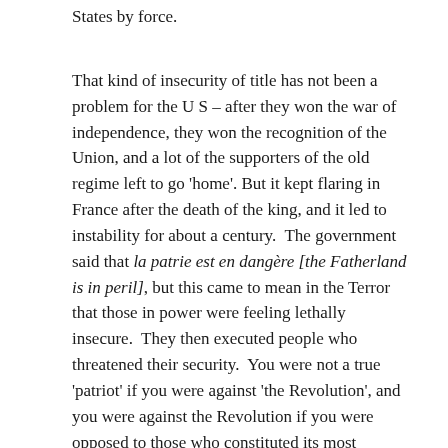States by force.
That kind of insecurity of title has not been a problem for the U S – after they won the war of independence, they won the recognition of the Union, and a lot of the supporters of the old regime left to go 'home'. But it kept flaring in France after the death of the king, and it led to instability for about a century.  The government said that la patrie est en dangère [the Fatherland is in peril], but this came to mean in the Terror that those in power were feeling lethally insecure.  They then executed people who threatened their security.  You were not a true 'patriot' if you were against 'the Revolution', and you were against the Revolution if you were opposed to those who constituted its most recently formed government.